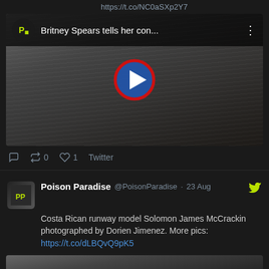https://t.co/NC0aSXp2Y7
[Figure (screenshot): Embedded video player showing a thumbnail of a blonde woman with a Poison Paradise logo and title 'Britney Spears tells her con...' with a play button]
0  0  1  Twitter
Poison Paradise @PoisonParadise · 23 Aug
Costa Rican runway model Solomon James McCrackin photographed by Dorien Jimenez. More pics: https://t.co/dLBQvQ9pK5
[Figure (photo): Black and white photo of a male model (top portion visible)]